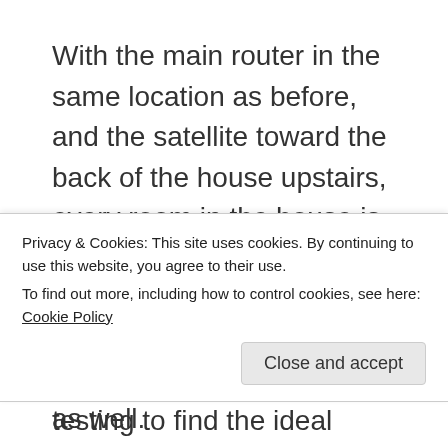With the main router in the same location as before, and the satellite toward the back of the house upstairs, every room in the house is covered, and even the patio and much of the large garden now have coverage as well. It took a bit of testing to find the ideal location for the satellite. The main router is placed at the bottom of the stairs, about 1/3 of the way from the front door, and the satellite is on the first floor about 2/3 of the way from the front
Privacy & Cookies: This site uses cookies. By continuing to use this website, you agree to their use.
To find out more, including how to control cookies, see here: Cookie Policy
garden, coverage outdoors as well.